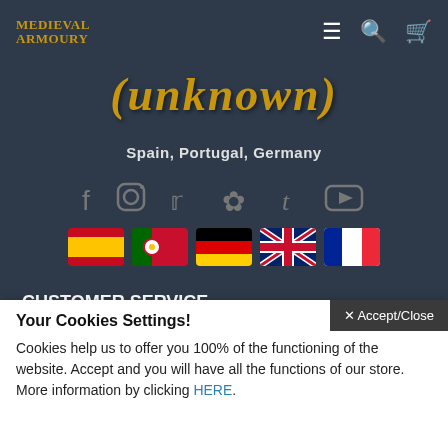Medieval Armoury — nav bar with logo, menu, search, cart icons
[Figure (logo): Medieval Armoury logo in top-left of nav bar, gold stylized text]
(unknown) — decorative medieval-font banner text in gold
Spain, Portugal, Germany
[Figure (illustration): Social media icons row: Facebook, Instagram, Twitter, Pinterest, Tumblr, YouTube — gray icons on dark background]
[Figure (illustration): Country flag emoji row: Spain, Portugal, Germany, UK, France]
CUSTOMER SERVICE
Contact
Returns
Site Map
Your Cookies Settings!
Cookies help us to offer you 100% of the functioning of the website. Accept and you will have all the functions of our store. More information by clicking HERE.